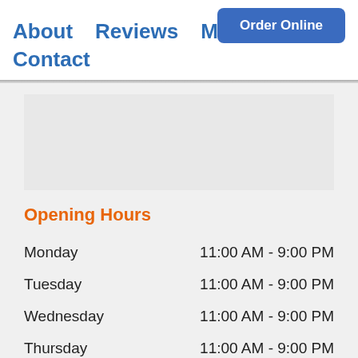Order Online
About   Reviews   Menu
Contact
Opening Hours
| Day | Hours |
| --- | --- |
| Monday | 11:00 AM - 9:00 PM |
| Tuesday | 11:00 AM - 9:00 PM |
| Wednesday | 11:00 AM - 9:00 PM |
| Thursday | 11:00 AM - 9:00 PM |